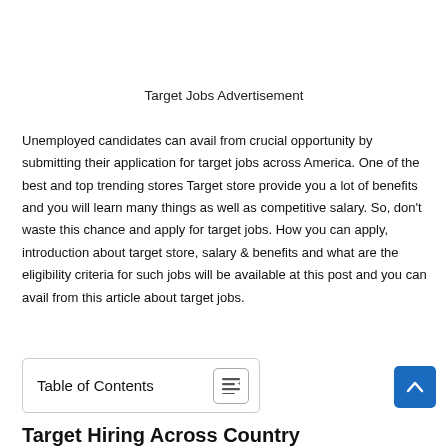Target Jobs Advertisement
Unemployed candidates can avail from crucial opportunity by submitting their application for target jobs across America. One of the best and top trending stores Target store provide you a lot of benefits and you will learn many things as well as competitive salary. So, don’t waste this chance and apply for target jobs. How you can apply, introduction about target store, salary & benefits and what are the eligibility criteria for such jobs will be available at this post and you can avail from this article about target jobs.
Table of Contents
Target Hiring Across Country